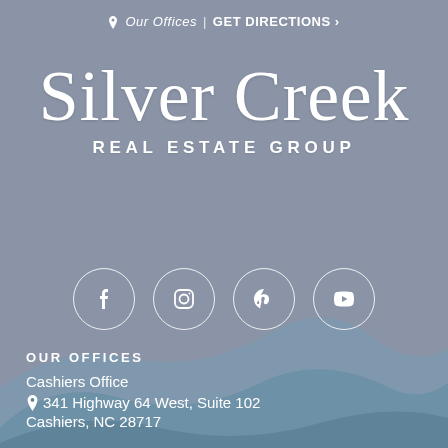📍 Our Offices | GET DIRECTIONS ›
Silver Creek
REAL ESTATE GROUP
[Figure (infographic): Four social media icon circles: Facebook, Instagram, Pinterest, YouTube]
OUR OFFICES
Cashiers Office
📍 341 Highway 64 West, Suite 102
Cashiers, NC 28717